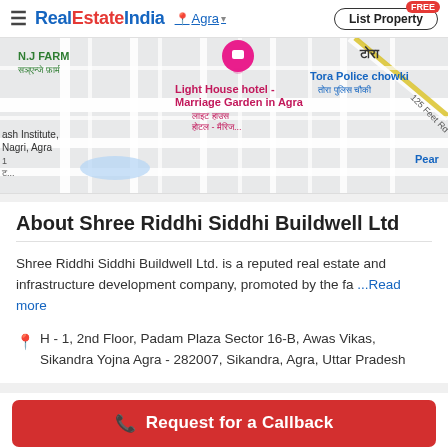RealEstateIndia — Agra — List Property
[Figure (map): Google Maps view showing Light House hotel - Marriage Garden in Agra, N.J Farm, Tora Police chowki, 125 Feet Rd, and surrounding street layout in Agra]
About Shree Riddhi Siddhi Buildwell Ltd
Shree Riddhi Siddhi Buildwell Ltd. is a reputed real estate and infrastructure development company, promoted by the fa ...Read more
H - 1, 2nd Floor, Padam Plaza Sector 16-B, Awas Vikas, Sikandra Yojna Agra - 282007, Sikandra, Agra, Uttar Pradesh
Request for a Callback